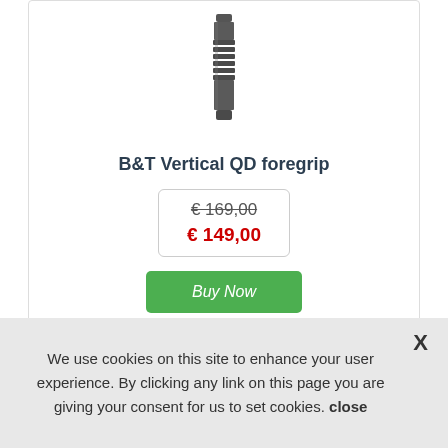[Figure (photo): A dark gray cylindrical B&T Vertical QD foregrip product shown vertically, with ribbed/grooved texture in the middle section]
B&T Vertical QD foregrip
€ 169,00 (strikethrough) € 149,00
Buy Now
We use cookies on this site to enhance your user experience. By clicking any link on this page you are giving your consent for us to set cookies. close